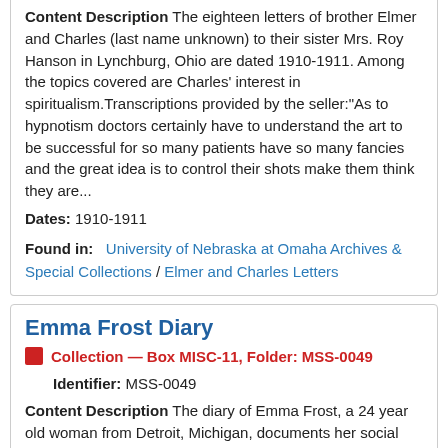Content Description The eighteen letters of brother Elmer and Charles (last name unknown) to their sister Mrs. Roy Hanson in Lynchburg, Ohio are dated 1910-1911. Among the topics covered are Charles' interest in spiritualism.Transcriptions provided by the seller:"As to hypnotism doctors certainly have to understand the art to be successful for so many patients have so many fancies and the great idea is to control their shots make them think they are...
Dates: 1910-1911
Found in: University of Nebraska at Omaha Archives & Special Collections / Elmer and Charles Letters
Emma Frost Diary
Collection — Box MISC-11, Folder: MSS-0049
Identifier: MSS-0049
Content Description The diary of Emma Frost, a 24 year old woman from Detroit, Michigan, documents her social activities, amusements, and household activities in 1914. She mentions spending time at a